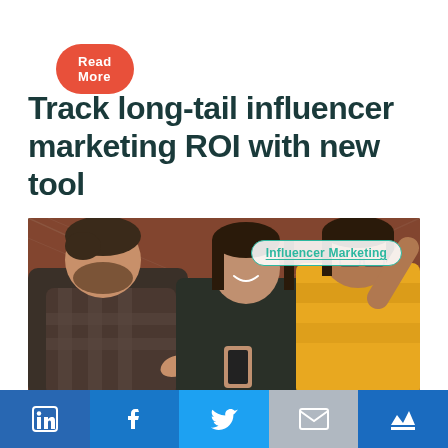Read More
Track long-tail influencer marketing ROI with new tool
[Figure (photo): Three people standing outdoors near a chain-link fence with graffiti, looking at a phone. A man in a plaid shirt on the left, a woman in a dark outfit in the center smiling, and a woman in a yellow sweater on the right gesturing. Tag overlay reads 'Influencer Marketing'.]
LinkedIn | Facebook | Twitter | Email | Crown (social share icons)